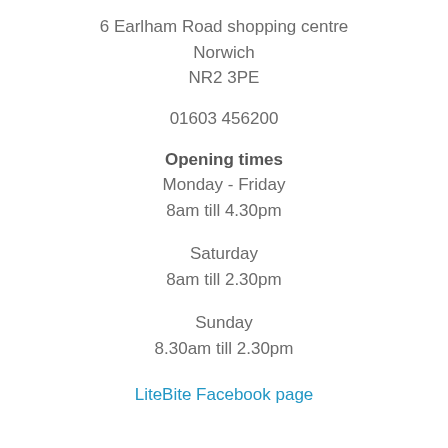6 Earlham Road shopping centre
Norwich
NR2 3PE
01603 456200
Opening times
Monday - Friday
8am till 4.30pm
Saturday
8am till 2.30pm
Sunday
8.30am till 2.30pm
LiteBite Facebook page